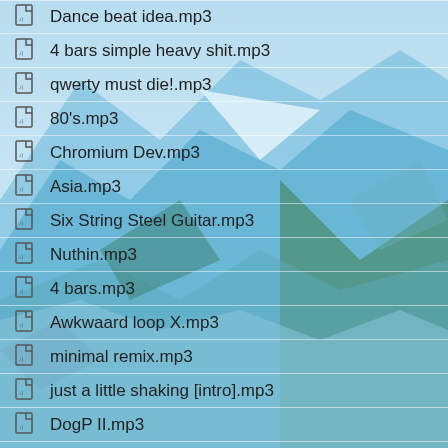Dance beat idea.mp3
4 bars simple heavy shit.mp3
qwerty must die!.mp3
80's.mp3
Chromium Dev.mp3
Asia.mp3
Six String Steel Guitar.mp3
Nuthin.mp3
4 bars.mp3
Awkwaard loop X.mp3
minimal remix.mp3
just a little shaking [intro].mp3
DogP II.mp3